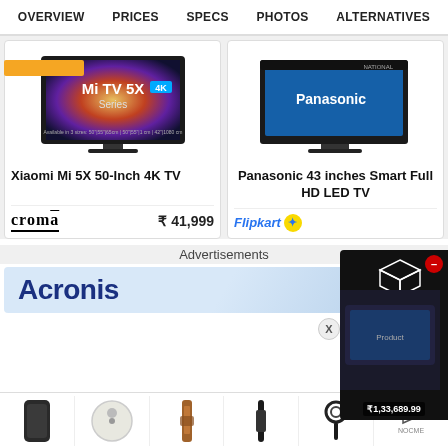OVERVIEW   PRICES   SPECS   PHOTOS   ALTERNATIVES
[Figure (screenshot): Xiaomi Mi TV 5X 4K Series product image]
Xiaomi Mi 5X 50-Inch 4K TV
croma   ₹ 41,999
[Figure (screenshot): Panasonic 43 inches Smart Full HD LED TV product image]
Panasonic 43 inches Smart Full HD LED TV
Flipkart
Advertisements
[Figure (screenshot): Acronis advertisement banner]
[Figure (screenshot): Side advertisement showing product box priced at ₹1,33,689.99]
[Figure (screenshot): Bottom row of product thumbnails]